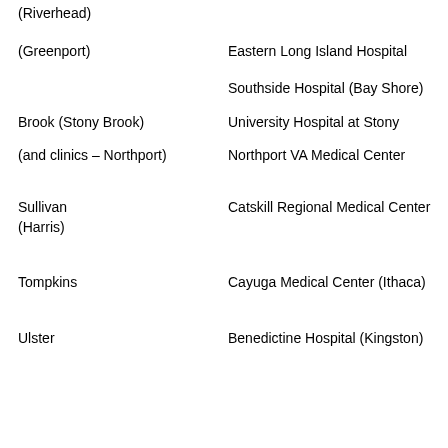(Riverhead)
Eastern Long Island Hospital (Greenport)
Southside Hospital (Bay Shore)
University Hospital at Stony Brook (Stony Brook)
Northport VA Medical Center (and clinics – Northport)
Sullivan (Harris)
Catskill Regional Medical Center
Tompkins
Cayuga Medical Center (Ithaca)
Ulster
Benedictine Hospital (Kingston)